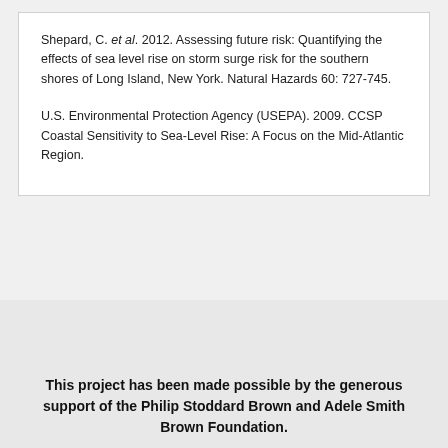Shepard, C. et al. 2012. Assessing future risk: Quantifying the effects of sea level rise on storm surge risk for the southern shores of Long Island, New York. Natural Hazards 60: 727-745.
U.S. Environmental Protection Agency (USEPA). 2009. CCSP Coastal Sensitivity to Sea-Level Rise: A Focus on the Mid-Atlantic Region.
This project has been made possible by the generous support of the Philip Stoddard Brown and Adele Smith Brown Foundation.